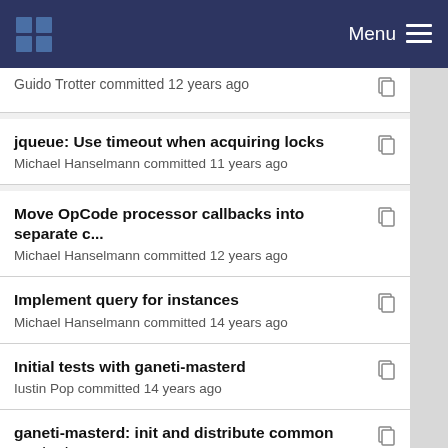Menu
Guido Trotter committed 12 years ago
jqueue: Use timeout when acquiring locks
Michael Hanselmann committed 11 years ago
Move OpCode processor callbacks into separate c...
Michael Hanselmann committed 12 years ago
Implement query for instances
Michael Hanselmann committed 14 years ago
Initial tests with ganeti-masterd
Iustin Pop committed 14 years ago
ganeti-masterd: init and distribute common context
Guido Trotter committed 14 years ago